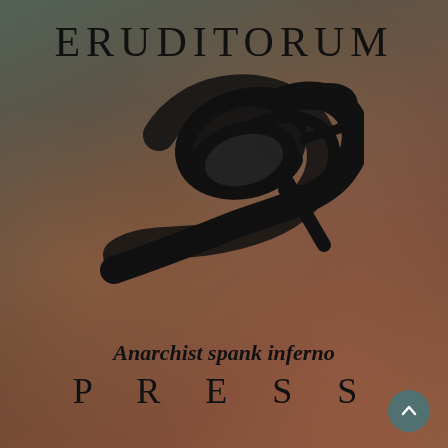ERUDITORUM
[Figure (logo): Eruditorum Press stylized 'EP' logo in black cursive/calligraphic lettering, resembling an elongated oval with a pen nib]
PRESS
Anarchist spank inferno